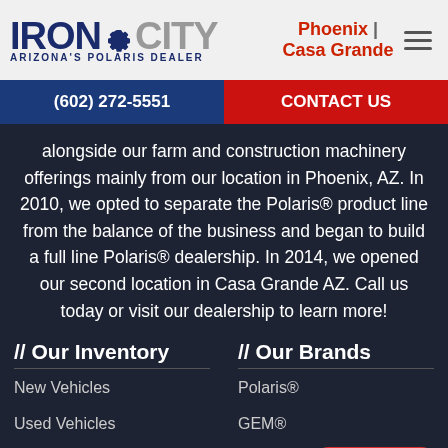IRON CITY ARIZONA'S POLARIS DEALER | Phoenix | Casa Grande
(602) 272-5551 | CONTACT US
alongside our farm and construction machinery offerings mainly from our location in Phoenix, AZ. In 2010, we opted to separate the Polaris® product line from the balance of the business and began to build a full line Polaris® dealership. In 2014, we opened our second location in Casa Grande AZ. Call us today or visit our dealership to learn more!
// Our Inventory
// Our Brands
New Vehicles
Used Vehicles
Polaris®
GEM®